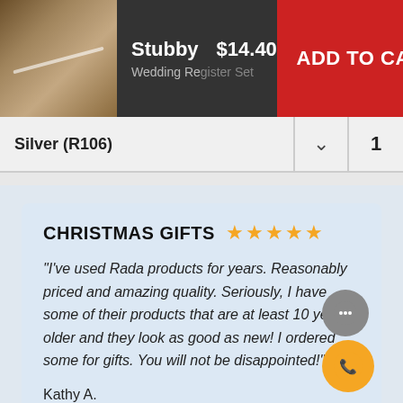[Figure (photo): Product image of a knife/cutlery set on a wooden cutting board background]
Stubby   $14.40
ADD TO CART
Wedding Register Set
Silver (R106)
1
CHRISTMAS GIFTS ★★★★★
"I've used Rada products for years. Reasonably priced and amazing quality. Seriously, I have some of their products that are at least 10 years older and they look as good as new! I ordered some for gifts. You will not be disappointed!"
Kathy A.